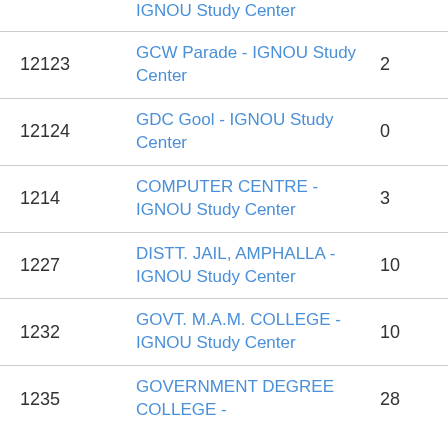| Code | Study Center | Count |
| --- | --- | --- |
|  | IGNOU Study Center (partial) |  |
| 12123 | GCW Parade - IGNOU Study Center | 2 |
| 12124 | GDC Gool - IGNOU Study Center | 0 |
| 1214 | COMPUTER CENTRE - IGNOU Study Center | 3 |
| 1227 | DISTT. JAIL, AMPHALLA - IGNOU Study Center | 10 |
| 1232 | GOVT. M.A.M. COLLEGE - IGNOU Study Center | 10 |
| 1235 | GOVERNMENT DEGREE COLLEGE - | 28 |